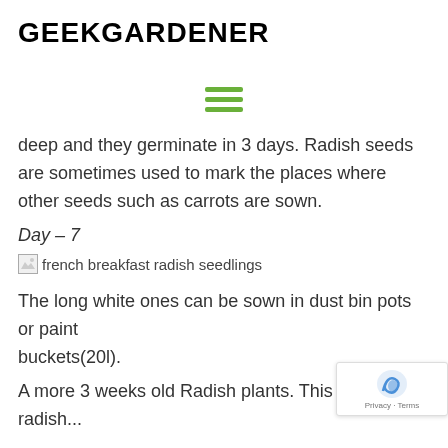GEEKGARDENER
[Figure (other): Hamburger menu icon with three green horizontal lines]
deep and they germinate in 3 days. Radish seeds are sometimes used to mark the places where other seeds such as carrots are sown.
Day – 7
[Figure (photo): Broken image placeholder with alt text: french breakfast radish seedlings]
The long white ones can be sown in dust bin pots or paint buckets(20l).
A more 3 weeks old Radish plants. This is how radish...